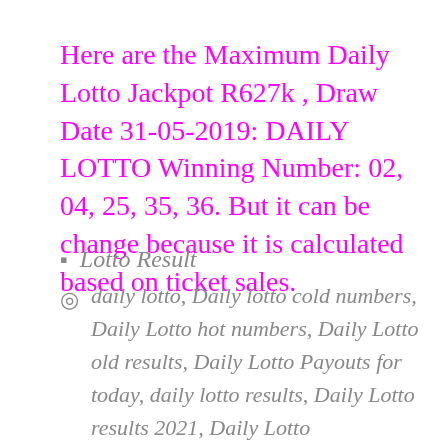Here are the Maximum Daily Lotto Jackpot R627k , Draw Date 31-05-2019: DAILY LOTTO Winning Number: 02, 04, 25, 35, 36. But it can be change because it is calculated based on ticket sales.
Lotto Result
daily lotto, Daily lotto cold numbers, Daily Lotto hot numbers, Daily Lotto old results, Daily Lotto Payouts for today, daily lotto results, Daily Lotto results 2021, Daily Lotto results 2021 today and daily lotto